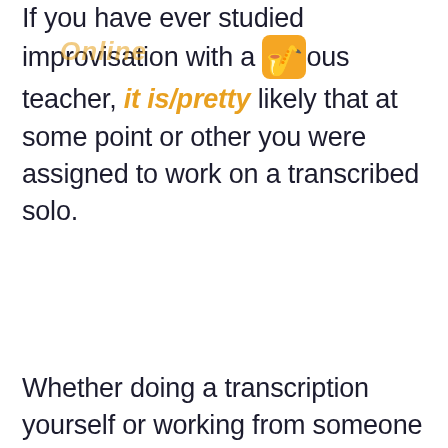If you have ever studied improvisation with a serious teacher, it is pretty likely that at some point or other you were assigned to work on a transcribed solo.
Whether doing a transcription yourself or working from someone else's transcription, it sometimes seems to take a very long time before the new vocabulary becomes a part of your own solos in some form or other. In some cases, the new content never becomes natural, which can be frustrating to say the least. Obviously, one of the goals is to master the